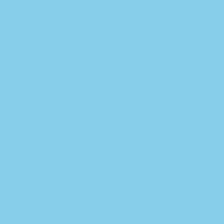[Figure (other): Light blue background panel occupying the left portion of the page]
report on it in the Aug him “an Oldsmobile d In all of O’Neil’s book sources (newspapers, book), and what is an scored events (alread that counted towards in his books; naturally otherwise scattered r since only two years h form of narrative abo in multi-page statistic That throughout the c American readers wh The vast majority of t come from a large nu thoroughly captioned round out the picture.